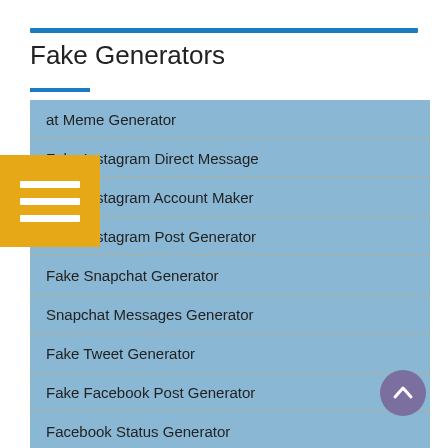Fake Generators
at Meme Generator
Fake Instagram Direct Message
Fake Instagram Account Maker
Fake Instagram Post Generator
Fake Snapchat Generator
Snapchat Messages Generator
Fake Tweet Generator
Fake Facebook Post Generator
Facebook Status Generator
Fake Chat Messenger
Twitter Chat Generator (Direct Message)